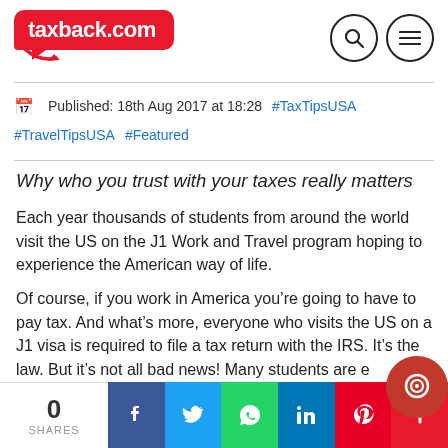[Figure (logo): taxback.com logo in red speech bubble]
Published: 18th Aug 2017 at 18:28   #TaxTipsUSA   #TravelTipsUSA   #Featured
Why who you trust with your taxes really matters
Each year thousands of students from around the world visit the US on the J1 Work and Travel program hoping to experience the American way of life.
Of course, if you work in America you’re going to have to pay tax. And what’s more, everyone who visits the US on a J1 visa is required to file a tax return with the IRS. It’s the law. But it’s not all bad news! Many students are e…
[Figure (infographic): Social share bar with 0 SHARES, Facebook, Twitter, WhatsApp, LinkedIn, Pinterest, and More buttons]